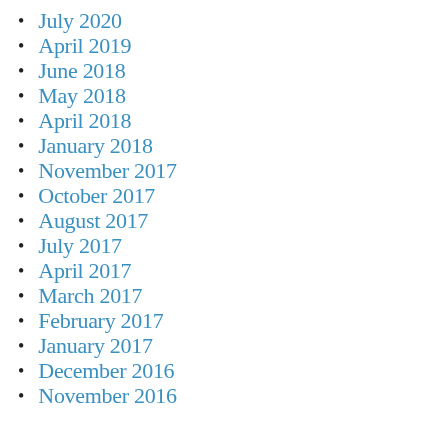July 2020
April 2019
June 2018
May 2018
April 2018
January 2018
November 2017
October 2017
August 2017
July 2017
April 2017
March 2017
February 2017
January 2017
December 2016
November 2016